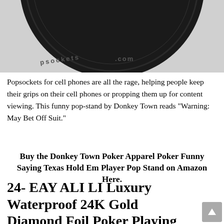[Figure (photo): Bottom portion of a dark/black circular Popsocket product showing the popsockets.com text around the edge]
Popsockets for cell phones are all the rage, helping people keep their grips on their cell phones or propping them up for content viewing. This funny pop-stand by Donkey Town reads "Warning: May Bet Off Suit."
Buy the Donkey Town Poker Apparel Poker Funny Saying Texas Hold Em Player Pop Stand on Amazon Here.
24- EAY ALI LI Luxury Waterproof 24K Gold Diamond Foil Poker Playing Cards